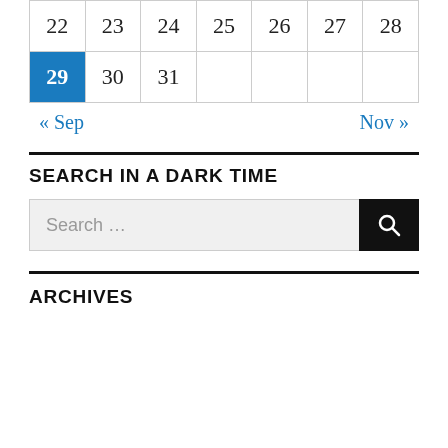| 22 | 23 | 24 | 25 | 26 | 27 | 28 |
| 29 | 30 | 31 |  |  |  |  |
« Sep    Nov »
SEARCH IN A DARK TIME
Search …
ARCHIVES